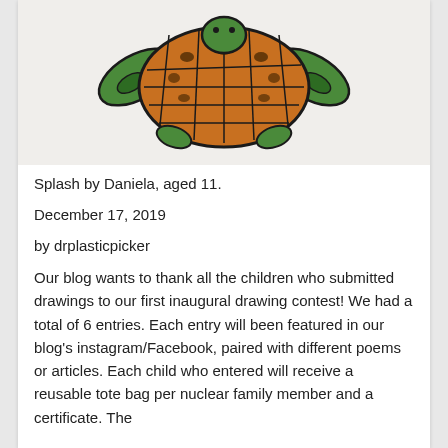[Figure (illustration): Child's drawing of a sea turtle named Splash, colored with green flippers and an orange/brown patterned shell with dark spots, on a light gray background.]
Splash by Daniela, aged 11.
December 17, 2019
by drplasticpicker
Our blog wants to thank all the children who submitted drawings to our first inaugural drawing contest! We had a total of 6 entries. Each entry will been featured in our blog's instagram/Facebook, paired with different poems or articles. Each child who entered will receive a reusable tote bag per nuclear family member and a certificate. The